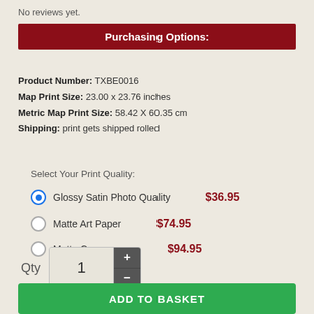No reviews yet.
Purchasing Options:
Product Number: TXBE0016
Map Print Size: 23.00 x 23.76 inches
Metric Map Print Size: 58.42 X 60.35 cm
Shipping: print gets shipped rolled
Select Your Print Quality:
Glossy Satin Photo Quality  $36.95
Matte Art Paper  $74.95
Matte Canvas  $94.95
Qty  1
ADD TO BASKET